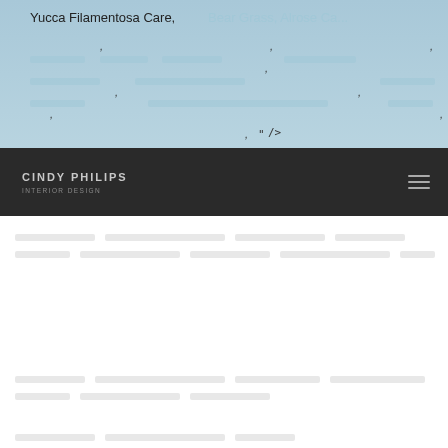Yucca Filamentosa Care, Bear Grass, Alrose Co...
[Figure (screenshot): Browser tab/page header area with teal/blue background showing partial page title 'Yucca Filamentosa Care, Bear Grass, Alrose Co...' with scattered comma punctuation marks and a code fragment ', " />' visible, partially clipped navigation breadcrumb links]
CINDY PHILIPS INTERIOR DESIGN